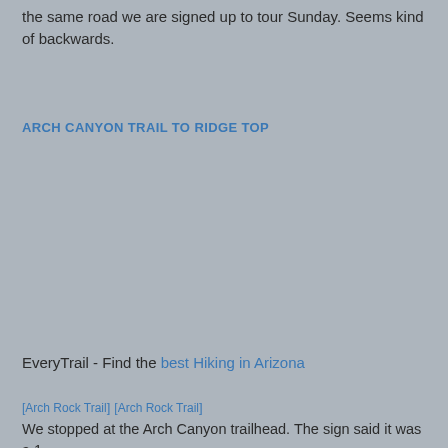the same road we are signed up to tour Sunday. Seems kind of backwards.
ARCH CANYON TRAIL TO RIDGE TOP
[Figure (map): Embedded map placeholder area showing a trail map (image not loaded, grey background)]
EveryTrail - Find the best Hiking in Arizona
[Figure (photo): Arch Rock Trail thumbnail image (broken/placeholder)]
[Figure (photo): Arch Rock Trail thumbnail image (broken/placeholder)]
We stopped at the Arch Canyon trailhead. The sign said it was a 1